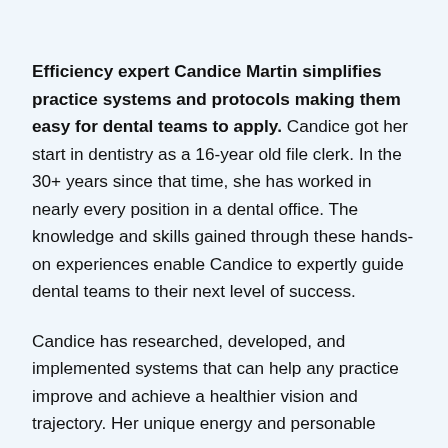Efficiency expert Candice Martin simplifies practice systems and protocols making them easy for dental teams to apply. Candice got her start in dentistry as a 16-year old file clerk. In the 30+ years since that time, she has worked in nearly every position in a dental office. The knowledge and skills gained through these hands-on experiences enable Candice to expertly guide dental teams to their next level of success.
Candice has researched, developed, and implemented systems that can help any practice improve and achieve a healthier vision and trajectory. Her unique energy and personable